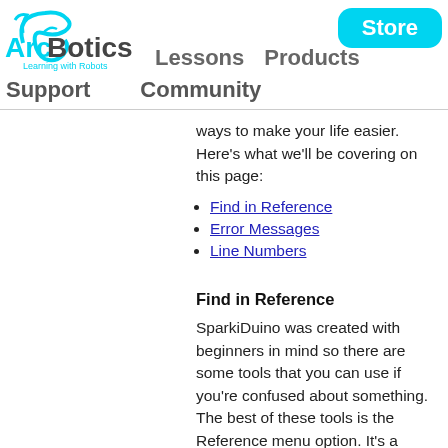[Figure (logo): ArcBotics logo with dolphin/arc graphic and tagline 'Learning with Robots' in cyan]
Lessons   Products   Support   Community   Store
ways to make your life easier. Here’s what we’ll be covering on this page:
Find in Reference
Error Messages
Line Numbers
Find in Reference
SparkiDuino was created with beginners in mind so there are some tools that you can use if you’re confused about something. The best of these tools is the Reference menu option. It’s a